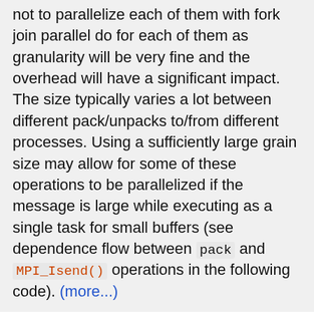not to parallelize each of them with fork join parallel do for each of them as granularity will be very fine and the overhead will have a significant impact. The size typically varies a lot between different pack/unpacks to/from different processes. Using a sufficiently large grain size may allow for some of these operations to be parallelized if the message is large while executing as a single task for small buffers (see dependence flow between pack and MPI_Isend() operations in the following code). (more...)
An easy way to implement communication and computation overlap consists on leveraging the existing communication and computational tasks, relying on task dependencies to deal with their synchronizations and link the application with the TAMPI library.
The TAMPI library captures the MPI blocking services, allowing to include Task Scheduling Points while